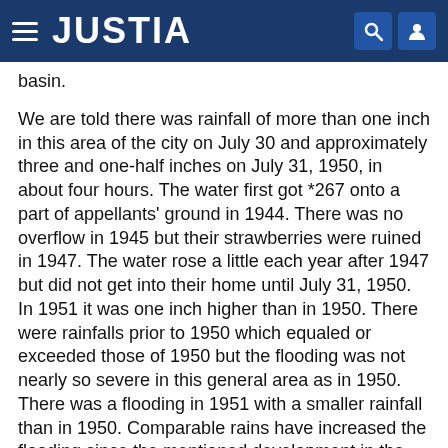JUSTIA
basin.
We are told there was rainfall of more than one inch in this area of the city on July 30 and approximately three and one-half inches on July 31, 1950, in about four hours. The water first got *267 onto a part of appellants' ground in 1944. There was no overflow in 1945 but their strawberries were ruined in 1947. The water rose a little each year after 1947 but did not get into their home until July 31, 1950. In 1951 it was one inch higher than in 1950. There were rainfalls prior to 1950 which equaled or exceeded those of 1950 but the flooding was not nearly so severe in this general area as in 1950. There was a flooding in 1951 with a smaller rainfall than in 1950. Comparable rains have increased the flooding since the mentioned development in the Dry Creek area. The amount of water reaching the area of appellants'